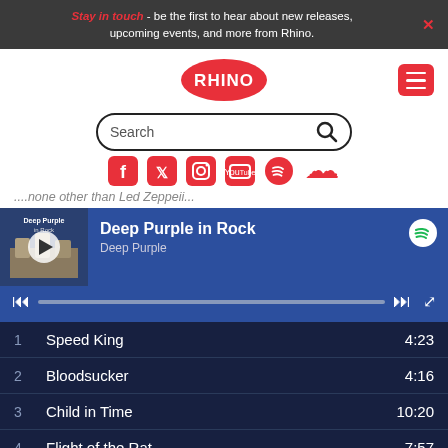Stay in touch - be the first to hear about new releases, upcoming events, and more from Rhino.
[Figure (logo): Rhino Records red oval logo with white RHINO text]
[Figure (screenshot): Search bar with magnifying glass icon]
[Figure (infographic): Social media icons: Facebook, Twitter, Instagram, YouTube, Spotify, SoundCloud]
....none other than Led Zeppeii...
[Figure (screenshot): Spotify player widget for Deep Purple in Rock by Deep Purple, with album art, playback controls, and track listing: 1 Speed King 4:23, 2 Bloodsucker 4:16, 3 Child in Time 10:20, 4 Flight of the Rat 7:57, 5 Into the Fire 3:30]